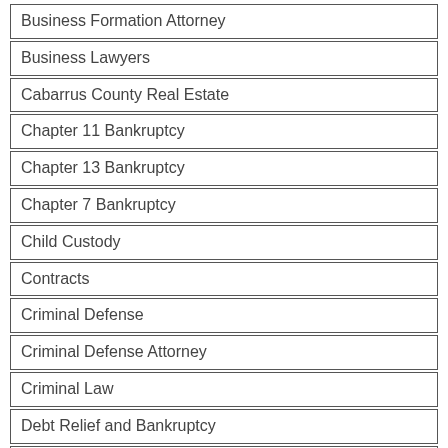Business Formation Attorney
Business Lawyers
Cabarrus County Real Estate
Chapter 11 Bankruptcy
Chapter 13 Bankruptcy
Chapter 7 Bankruptcy
Child Custody
Contracts
Criminal Defense
Criminal Defense Attorney
Criminal Law
Debt Relief and Bankruptcy
Debt Relief Help
Divorce Attorneys
Divorce Law